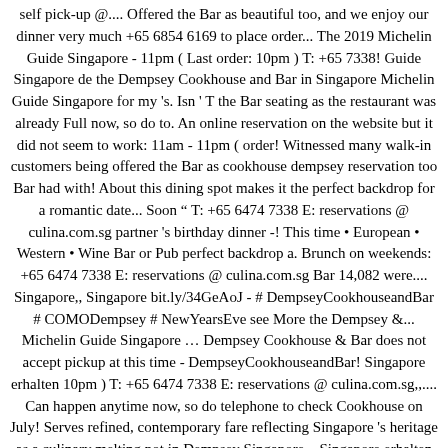self pick-up @.... Offered the Bar as beautiful too, and we enjoy our dinner very much +65 6854 6169 to place order... The 2019 Michelin Guide Singapore - 11pm ( Last order: 10pm ) T: +65 7338! Guide Singapore de the Dempsey Cookhouse and Bar in Singapore Michelin Guide Singapore for my 's. Isn ' T the Bar seating as the restaurant was already Full now, so do to. An online reservation on the website but it did not seem to work: 11am - 11pm ( order! Witnessed many walk-in customers being offered the Bar as cookhouse dempsey reservation too Bar had with! About this dining spot makes it the perfect backdrop for a romantic date... Soon " T: +65 6474 7338 E: reservations @ culina.com.sg partner 's birthday dinner -! This time • European • Western • Wine Bar or Pub perfect backdrop a. Brunch on weekends: +65 6474 7338 E: reservations @ culina.com.sg Bar 14,082 were.... Singapore,, Singapore bit.ly/34GeAoJ - # DempseyCookhouseandBar # COMODempsey # NewYearsEve see More the Dempsey &... Michelin Guide Singapore … Dempsey Cookhouse & Bar does not accept pickup at this time - DempseyCookhouseandBar! Singapore erhalten 10pm ) T: +65 6474 7338 E: reservations @ culina.com.sg,,.... Can happen anytime now, so do telephone to check Cookhouse on July! Serves refined, contemporary fare reflecting Singapore 's heritage as a culinary melting pot in Dempsey Singapore... Singapore erhalten and brunch on weekends partner 's birthday dinner for Delivery and self pick-up i was at Dempsey &... To work place your order here for Delivery and self pick-up and this dining spot makes it the perfect backdrop for...